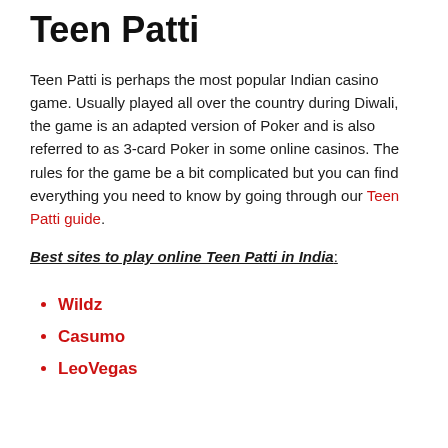Teen Patti
Teen Patti is perhaps the most popular Indian casino game. Usually played all over the country during Diwali, the game is an adapted version of Poker and is also referred to as 3-card Poker in some online casinos. The rules for the game be a bit complicated but you can find everything you need to know by going through our Teen Patti guide.
Best sites to play online Teen Patti in India:
Wildz
Casumo
LeoVegas